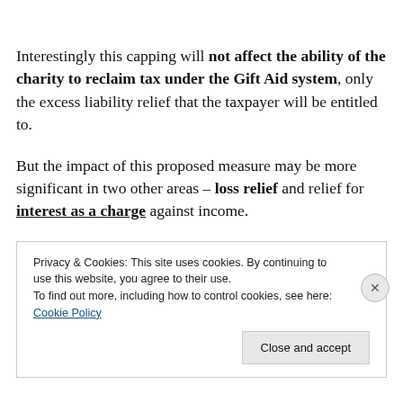Interestingly this capping will not affect the ability of the charity to reclaim tax under the Gift Aid system, only the excess liability relief that the taxpayer will be entitled to.
But the impact of this proposed measure may be more significant in two other areas – loss relief and relief for interest as a charge against income.
Privacy & Cookies: This site uses cookies. By continuing to use this website, you agree to their use.
To find out more, including how to control cookies, see here: Cookie Policy